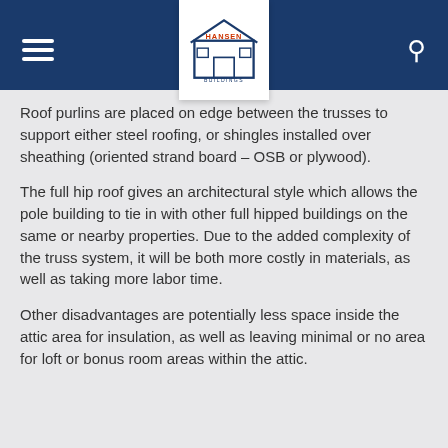Hansen Buildings
Roof purlins are placed on edge between the trusses to support either steel roofing, or shingles installed over sheathing (oriented strand board – OSB or plywood).
The full hip roof gives an architectural style which allows the pole building to tie in with other full hipped buildings on the same or nearby properties. Due to the added complexity of the truss system, it will be both more costly in materials, as well as taking more labor time.
Other disadvantages are potentially less space inside the attic area for insulation, as well as leaving minimal or no area for loft or bonus room areas within the attic.